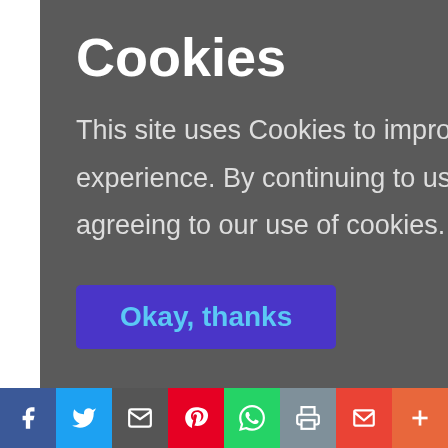stic
al for
ions. This
anic
bostance
e from
[Figure (screenshot): Cookie consent overlay popup with dark grey background showing title 'Cookies' and message 'This site uses Cookies to improve your online experience. By continuing to use this site you are agreeing to our use of cookies. Find out more.' with an 'Okay, thanks' button in purple/blue.]
umerous
[Figure (infographic): Social sharing bar at bottom with icons for Facebook (blue), Twitter (light blue), Email (dark grey), Pinterest (red), WhatsApp (green), Print (grey), Gmail (red), and a plus button (orange-red).]